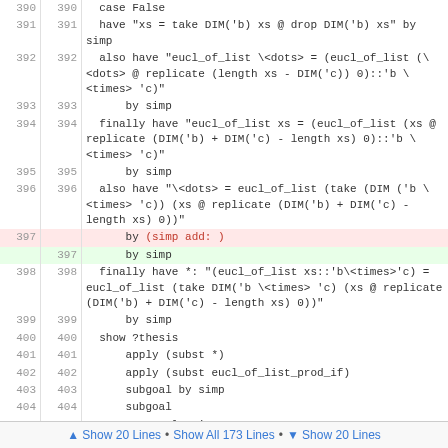[Figure (screenshot): A code diff view showing lines 390-405 of a proof script, with line 397 having a red deleted line 'by (simp add: )' and a green added line 'by simp'.]
▲ Show 20 Lines • Show All 173 Lines • ▼ Show 20 Lines